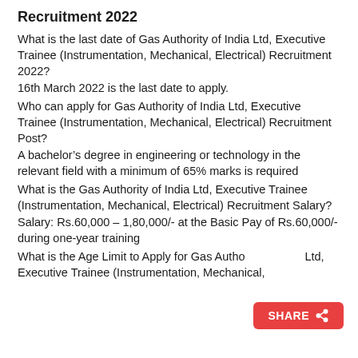Recruitment 2022
What is the last date of Gas Authority of India Ltd, Executive Trainee (Instrumentation, Mechanical, Electrical) Recruitment 2022?
16th March 2022 is the last date to apply.
Who can apply for Gas Authority of India Ltd, Executive Trainee (Instrumentation, Mechanical, Electrical) Recruitment Post?
A bachelor’s degree in engineering or technology in the relevant field with a minimum of 65% marks is required
What is the Gas Authority of India Ltd, Executive Trainee (Instrumentation, Mechanical, Electrical) Recruitment Salary?
Salary: Rs.60,000 – 1,80,000/- at the Basic Pay of Rs.60,000/- during one-year training
What is the Age Limit to Apply for Gas Authority of India Ltd, Executive Trainee (Instrumentation, Mechanical,